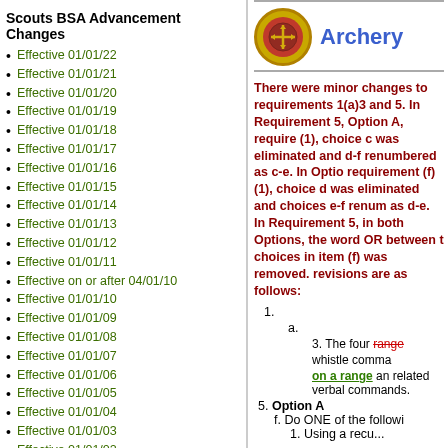Scouts BSA Advancement Changes
Effective 01/01/22
Effective 01/01/21
Effective 01/01/20
Effective 01/01/19
Effective 01/01/18
Effective 01/01/17
Effective 01/01/16
Effective 01/01/15
Effective 01/01/14
Effective 01/01/13
Effective 01/01/12
Effective 01/01/11
Effective on or after 04/01/10
Effective 01/01/10
Effective 01/01/09
Effective 01/01/08
Effective 01/01/07
Effective 01/01/06
Effective 01/01/05
Effective 01/01/04
Effective 01/01/03
Effective 01/01/02
Effective 01/01/01
Effective 01/01/00
Effective 04/01/99
[Figure (logo): Archery merit badge circular logo]
Archery
There were minor changes to requirements 1(a)3 and 5.  In Requirement 5, Option A, requirement (1), choice c was eliminated and d-f renumbered as c-e.  In Option B, requirement (f)(1), choice d was eliminated and choices e-f renumbered as d-e. In Requirement 5, in both Options, the word OR between the choices in item (f) was removed.  The revisions are as follows:
1.
a.
3. The four range whistle commands
on a range and related verbal commands.
5. Option A
f. Do ONE of the following
1. Using a recu...